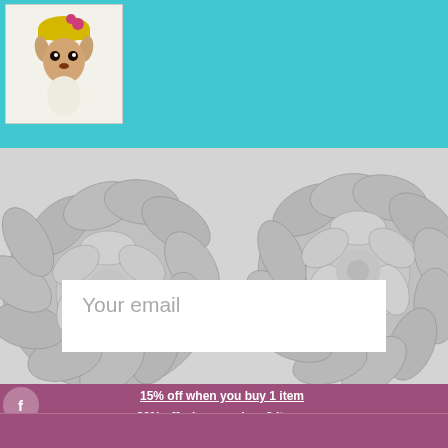[Figure (illustration): A small deer/chihuahua wearing a yellow knit hat with a pink flower, illustrated in a whimsical style, white background]
[Figure (illustration): Black and white floral banner with large peony/chrysanthemum flowers on left and right sides, with a white email input field in the center reading 'Your email']
15% off when you buy 1 item
20% off when you buy 2 items
25% off when you buy 3 items
30% off when you buy 5 items
No additional discount or coupons may be appl...
SIGN UP AND SAVE